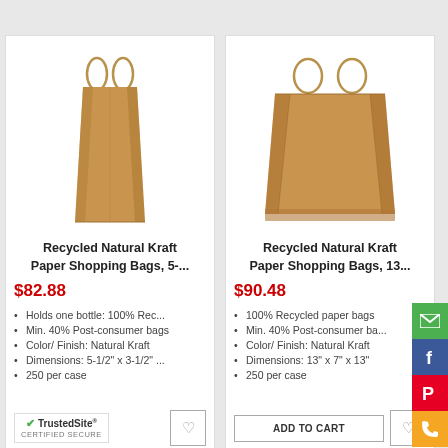[Figure (photo): Tall narrow kraft paper shopping bag with twisted handles]
Recycled Natural Kraft Paper Shopping Bags, 5-...
$82.88
Holds one bottle: 100% Rec...
Min. 40% Post-consumer bags
Color/ Finish: Natural Kraft
Dimensions: 5-1/2" x 3-1/2" ...
250 per case
[Figure (photo): Wider kraft paper shopping bag with twisted handles]
Recycled Natural Kraft Paper Shopping Bags, 13...
$90.48
100% Recycled paper bags
Min. 40% Post-consumer ba...
Color/ Finish: Natural Kraft
Dimensions: 13" x 7" x 13"
250 per case